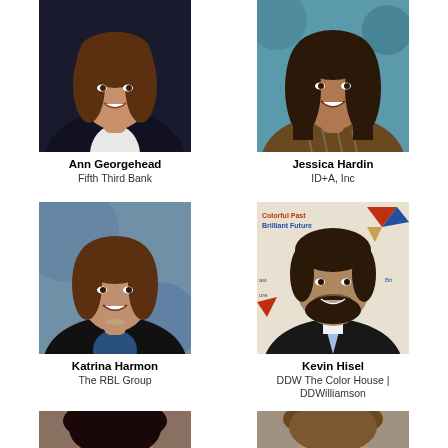[Figure (photo): Headshot of Ann Georgehead, a woman with long brown hair, smiling, wearing a dark blazer]
Ann Georgehead
Fifth Third Bank
[Figure (photo): Headshot of Jessica Hardin, a woman with long dark hair, smiling, wearing a patterned top, colorful background]
Jessica Hardin
ID+A, Inc
[Figure (photo): Headshot of Katrina Harmon, a woman with medium brown hair, smiling, wearing a dark blazer, colorful background]
Katrina Harmon
The RBL Group
[Figure (photo): Headshot of Kevin Hisel, a man with dark hair and beard, smiling, wearing a suit and tie, banner background reading Colorful Past Brilliant Future]
Kevin Hisel
DDW The Color House | DDWilliamson
[Figure (photo): Partial headshot of a woman with dark hair, cropped at bottom of page]
[Figure (photo): Partial headshot of a woman, cropped at bottom of page]